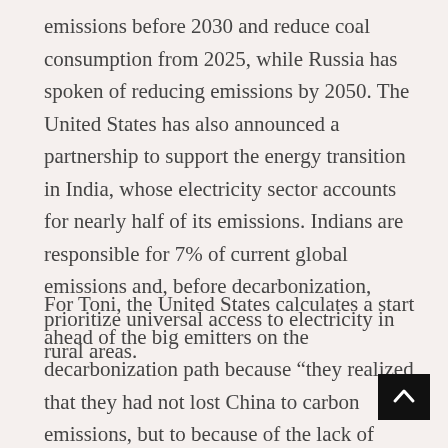emissions before 2030 and reduce coal consumption from 2025, while Russia has spoken of reducing emissions by 2050. The United States has also announced a partnership to support the energy transition in India, whose electricity sector accounts for nearly half of its emissions. Indians are responsible for 7% of current global emissions and, before decarbonization, prioritize universal access to electricity in rural areas.
For Toni, the United States calculates a start ahead of the big emitters on the decarbonization path because “they realized that they had not lost China to carbon emissions, but to because of the lack of investment in science and innovation ”. “Now the key to competi[tiveness] has changed. The political calculation is that the margin [of competitiveness has changed dramatically].